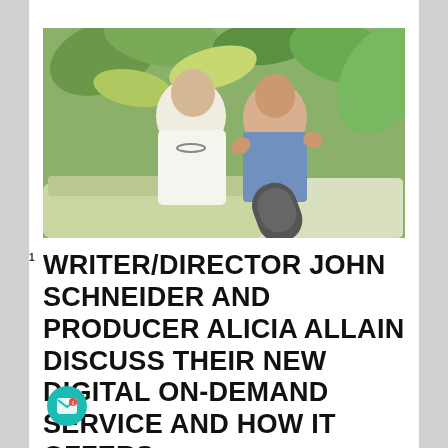[Figure (photo): Photo of two people — a man in a white shirt with glasses around his neck leaning close to a woman in a denim vest giving two thumbs up, seated outdoors with tropical plants and a microphone visible in the foreground]
WRITER/DIRECTOR JOHN SCHNEIDER AND PRODUCER ALICIA ALLAIN DISCUSS THEIR NEW DIGITAL ON-DEMAND SERVICE AND HOW IT OFFERS